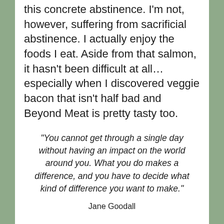this concrete abstinence. I'm not, however, suffering from sacrificial abstinence. I actually enjoy the foods I eat. Aside from that salmon, it hasn't been difficult at all…especially when I discovered veggie bacon that isn't half bad and Beyond Meat is pretty tasty too.
“You cannot get through a single day without having an impact on the world around you. What you do makes a difference, and you have to decide what kind of difference you want to make.”
Jane Goodall